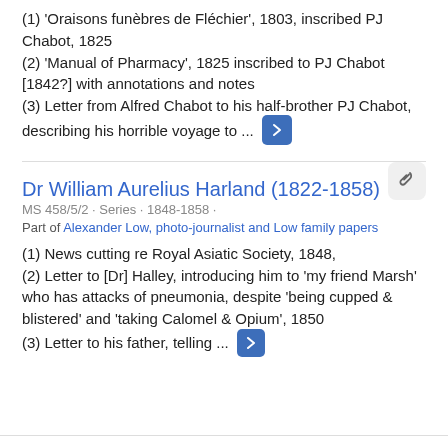(1) 'Oraisons funèbres de Fléchier', 1803, inscribed PJ Chabot, 1825
(2) 'Manual of Pharmacy', 1825 inscribed to PJ Chabot [1842?] with annotations and notes
(3) Letter from Alfred Chabot to his half-brother PJ Chabot, describing his horrible voyage to ...
Dr William Aurelius Harland (1822-1858)
MS 458/5/2 · Series · 1848-1858 ·
Part of Alexander Low, photo-journalist and Low family papers
(1) News cutting re Royal Asiatic Society, 1848,
(2) Letter to [Dr] Halley, introducing him to 'my friend Marsh' who has attacks of pneumonia, despite 'being cupped & blistered' and 'taking Calomel & Opium', 1850
(3) Letter to his father, telling ...